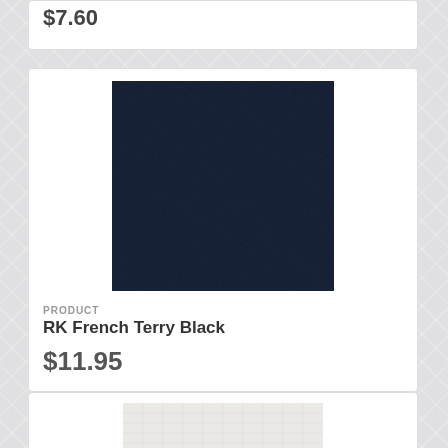$7.60
[Figure (photo): Dark navy blue French terry fabric swatch, square crop showing textile texture]
PRODUCT
RK French Terry Black
$11.95
[Figure (photo): Light cream/off-white fabric swatch, partially visible at bottom of page]